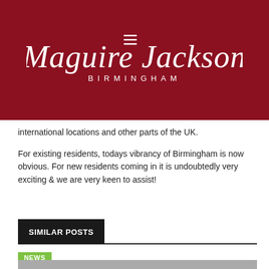[Figure (logo): Maguire Jackson Birmingham logo — white script text on dark red background]
international locations and other parts of the UK.
For existing residents, todays vibrancy of Birmingham is now obvious. For new residents coming in it is undoubtedly very exciting & we are very keen to assist!
SIMILAR POSTS
NEWS